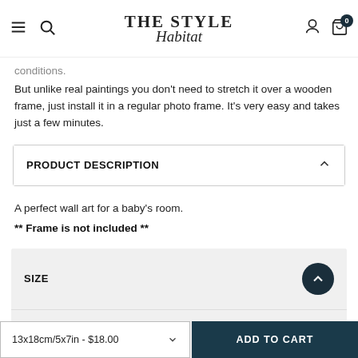THE STYLE Habitat
conditions.
But unlike real paintings you don't need to stretch it over a wooden frame, just install it in a regular photo frame. It's very easy and takes just a few minutes.
PRODUCT DESCRIPTION
A perfect wall art for a baby's room.
** Frame is not included **
SIZE
SHIPPING & RETURNS
13x18cm/5x7in - $18.00
ADD TO CART